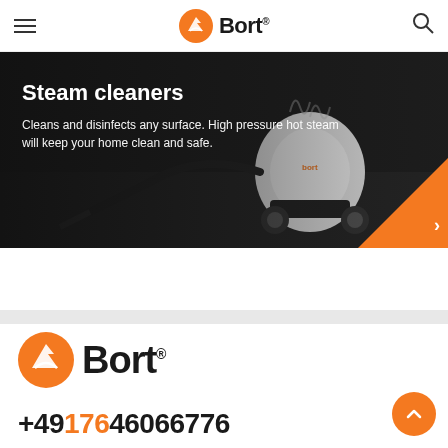Bort — navigation header with hamburger menu and search icon
[Figure (photo): Hero banner showing Bort steam cleaner on dark floor background with orange triangle accent in bottom-right corner]
Steam cleaners
Cleans and disinfects any surface. High pressure hot steam will keep your home clean and safe.
[Figure (logo): Bort logo with orange circle containing stylized bird/tool icon and bold black Bort text with registered trademark symbol]
+49176 46066776